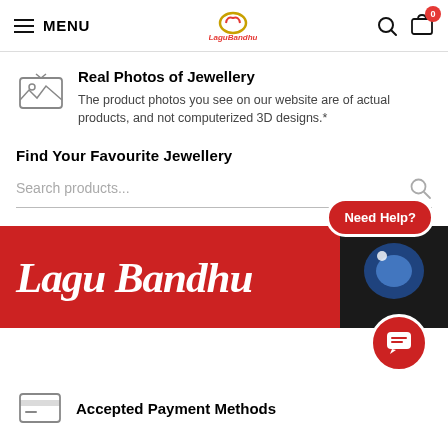MENU | LaguBandhu logo | search icon | cart (0)
Real Photos of Jewellery
The product photos you see on our website are of actual products, and not computerized 3D designs.*
Find Your Favourite Jewellery
Search products...
[Figure (illustration): Red banner with Lagu Bandhu script logo in white, with jewellery photo on right side, Need Help? bubble and chat button overlaid]
Accepted Payment Methods